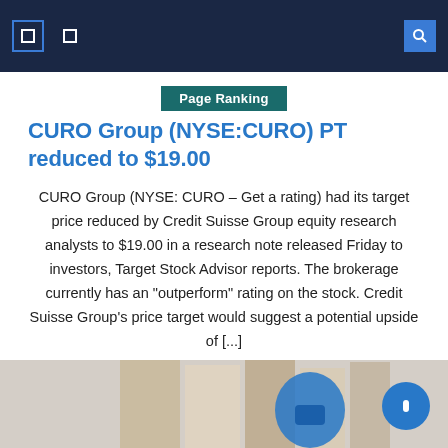Navigation bar with icons
Page Ranking
CURO Group (NYSE:CURO) PT reduced to $19.00
CURO Group (NYSE: CURO – Get a rating) had its target price reduced by Credit Suisse Group equity research analysts to $19.00 in a research note released Friday to investors, Target Stock Advisor reports. The brokerage currently has an "outperform" rating on the stock. Credit Suisse Group's price target would suggest a potential upside of [...]
May 20, 2022  Theresa J. Haigler  Comments Off
[Figure (photo): Partial view of books or documents with an illustrated character, bottom of page]